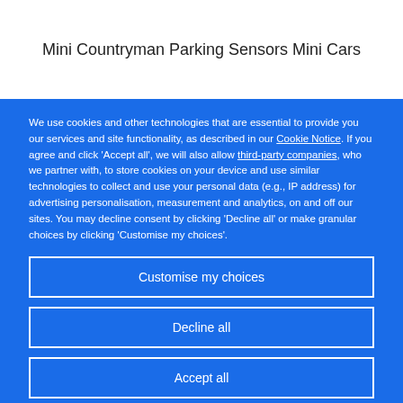Mini Countryman Parking Sensors Mini Cars
We use cookies and other technologies that are essential to provide you our services and site functionality, as described in our Cookie Notice. If you agree and click 'Accept all', we will also allow third-party companies, who we partner with, to store cookies on your device and use similar technologies to collect and use your personal data (e.g., IP address) for advertising personalisation, measurement and analytics, on and off our sites. You may decline consent by clicking 'Decline all' or make granular choices by clicking 'Customise my choices'.
Customise my choices
Decline all
Accept all